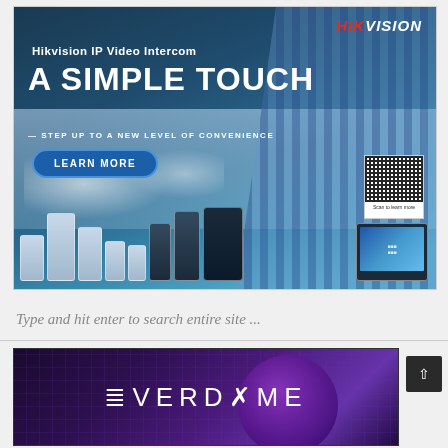[Figure (illustration): Hikvision IP Video Intercom advertisement banner. Dark blue background with building imagery. Text reads 'Hikvision IP Video Intercom', 'A SIMPLE TOUCH', '— STEP UP TO A NEW LEVEL OF CONVENIENCE', 'LEARN MORE' button, QR code, and product device lineup at the bottom.]
Type and hit enter to search entire site ...
[Figure (illustration): Everdome advertisement banner with purple/dark background, sphere graphic, and grid lines. Large white text reads 'EVERDOME'.]